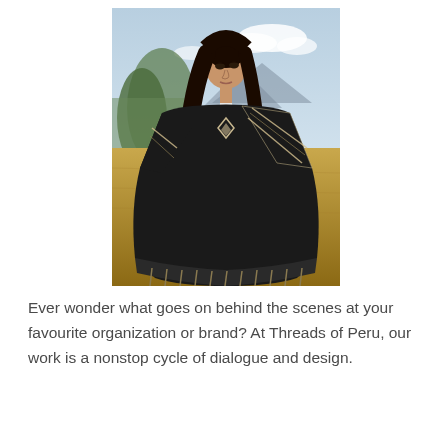[Figure (photo): A young woman with long black hair wearing a black poncho/shawl with white geometric Andean patterns and fringe, standing in a dry golden field with mountains and a cloudy sky in the background.]
Ever wonder what goes on behind the scenes at your favourite organization or brand? At Threads of Peru, our work is a nonstop cycle of dialogue and design.